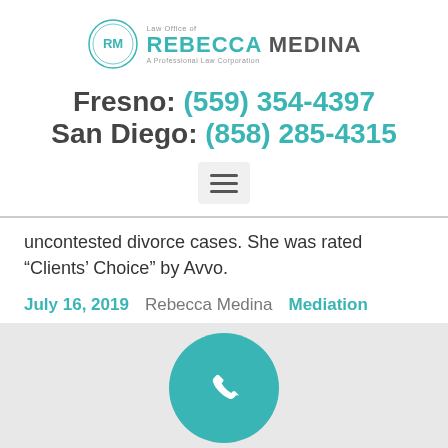[Figure (logo): Law Office of Rebecca Medina logo with circular RM monogram and teal text]
Fresno: (559) 354-4397
San Diego: (858) 285-4315
[Figure (other): Hamburger menu button icon]
uncontested divorce cases. She was rated “Clients’ Choice” by Avvo.
July 16, 2019  Rebecca Medina  Mediation
[Figure (other): Teal phone icon circle on light grey background]